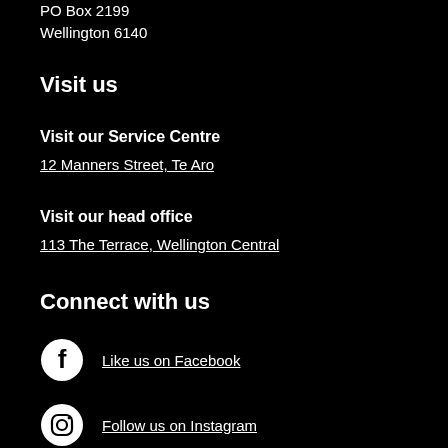PO Box 2199
Wellington 6140
Visit us
Visit our Service Centre
12 Manners Street, Te Aro
Visit our head office
113 The Terrace, Wellington Central
Connect with us
Like us on Facebook
Follow us on Instagram